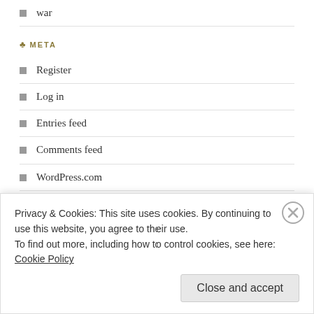war
META
Register
Log in
Entries feed
Comments feed
WordPress.com
TAGS
acupuncunturist all nudey atheism atheist baldies ballybgicken ballybricken blackberries blackberry class classy delilah deluded deranged dragged the balls drumming drums existence existentialism
Privacy & Cookies: This site uses cookies. By continuing to use this website, you agree to their use.
To find out more, including how to control cookies, see here: Cookie Policy
Close and accept